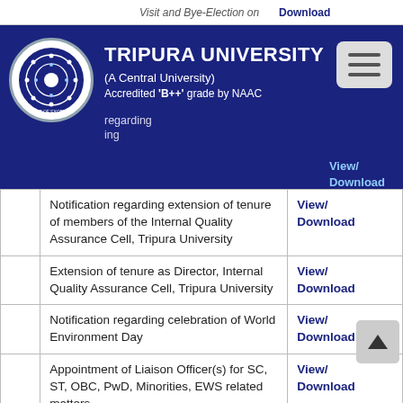TRIPURA UNIVERSITY (A Central University) Accredited 'B++' grade by NAAC
|  | Notice | Link |
| --- | --- | --- |
|  | Notification regarding extension of tenure of members of the Internal Quality Assurance Cell, Tripura University | View/Download |
|  | Extension of tenure as Director, Internal Quality Assurance Cell, Tripura University | View/Download |
|  | Notification regarding celebration of World Environment Day | View/Download |
|  | Appointment of Liaison Officer(s) for SC, ST, OBC, PwD, Minorities, EWS related matters | View/Download |
|  | Appointment of Nodal Officer(s) for SC, ST, OBC, PwD, Minorities, EWS related matters | View/Download |
|  | Notice regarding Result of TDP/TDPH BA (Pass & Hons) 3rd... | View/Download |